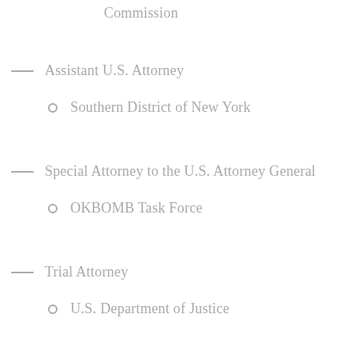Commission
Assistant U.S. Attorney
Southern District of New York
Special Attorney to the U.S. Attorney General
OKBOMB Task Force
Trial Attorney
U.S. Department of Justice